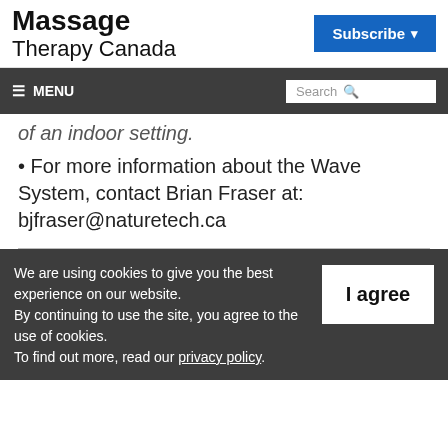Massage Therapy Canada
of an indoor setting.
For more information about the Wave System, contact Brian Fraser at: bjfraser@naturetech.ca
We are using cookies to give you the best experience on our website. By continuing to use the site, you agree to the use of cookies. To find out more, read our privacy policy.